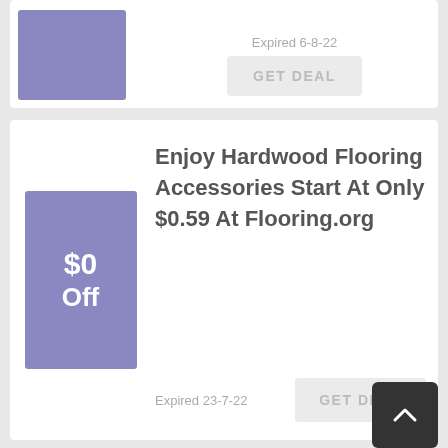[Figure (screenshot): Partial coupon card at top showing an expired deal badge (purple) and GET DEAL button, expired 6-8-22]
Enjoy Hardwood Flooring Accessories Start At Only $0.59 At Flooring.org
Expired 23-7-22
GET DEAL
$0 Off
Find 10% Off + Free Delivery
10% Off
Expired 25-10-21
GET DEAL